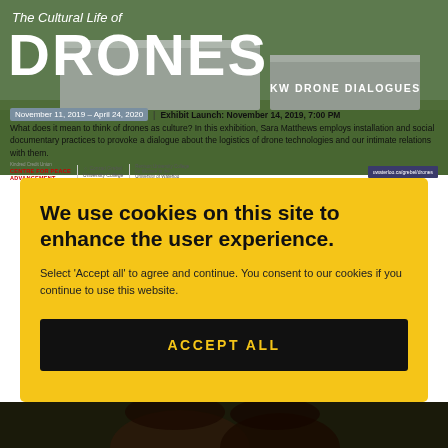[Figure (photo): Exhibition banner for 'The Cultural Life of Drones / KW Drone Dialogues' showing large white concrete blocks in a grassy setting with overlaid white text]
November 11, 2019 – April 24, 2020 | Exhibit Launch: November 14, 2019, 7:00 PM
What does it mean to think of drones as culture? In this exhibition, Sara Matthews employs installation and social documentary practices to provoke a dialogue about the logistics of drone technologies and our intimate relations with them.
[Figure (logo): Sponsor logos: Kindred Credit Union Centre for Peace Advancement, Conrad Grebel University College, Renison University College, uwaterloo.ca/grebel/drones]
We use cookies on this site to enhance the user experience.
Select 'Accept all' to agree and continue. You consent to our cookies if you continue to use this website.
ACCEPT ALL
[Figure (photo): Bottom portion of page showing a person's face/hair against a dark background]